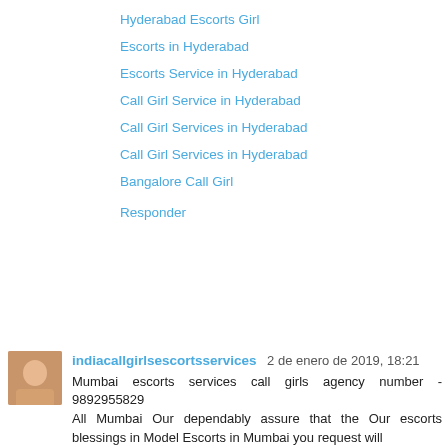Hyderabad Escorts Girl
Escorts in Hyderabad
Escorts Service in Hyderabad
Call Girl Service in Hyderabad
Call Girl Services in Hyderabad
Call Girl Services in Hyderabad
Bangalore Call Girl
Responder
indiacallgirlsescortsservices 2 de enero de 2019, 18:21
Mumbai escorts services call girls agency number - 9892955829
All Mumbai Our dependably assure that the Our escorts blessings in Model Escorts in Mumbai you request will